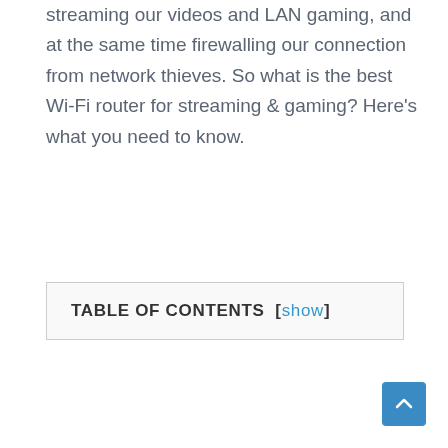streaming our videos and LAN gaming, and at the same time firewalling our connection from network thieves. So what is the best Wi-Fi router for streaming & gaming? Here's what you need to know.
| TABLE OF CONTENTS [show] |
| --- |